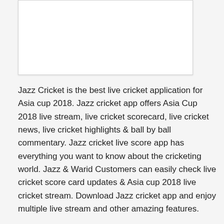[Figure (other): White rectangular image/screenshot placeholder with light border]
Jazz Cricket is the best live cricket application for Asia cup 2018. Jazz cricket app offers Asia Cup 2018 live stream, live cricket scorecard, live cricket news, live cricket highlights & ball by ball commentary. Jazz cricket live score app has everything you want to know about the cricketing world. Jazz & Warid Customers can easily check live cricket score card updates & Asia cup 2018 live cricket stream. Download Jazz cricket app and enjoy multiple live stream and other amazing features.